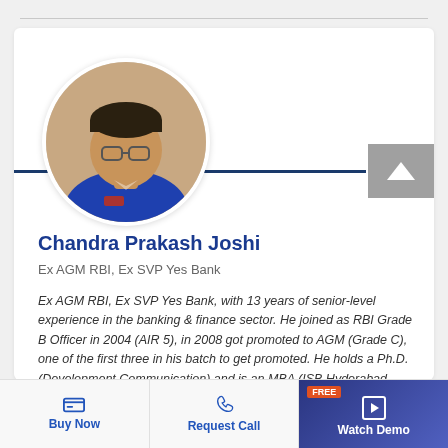[Figure (photo): Circular profile photo of Chandra Prakash Joshi, a man wearing glasses and a blue polo shirt]
Chandra Prakash Joshi
Ex AGM RBI, Ex SVP Yes Bank
Ex AGM RBI, Ex SVP Yes Bank, with 13 years of senior-level experience in the banking & finance sector. He joined as RBI Grade B Officer in 2004 (AIR 5), in 2008 got promoted to AGM (Grade C), one of the first three in his batch to get promoted. He holds a Ph.D.(Development Communication) and is an MBA (ISB Hyderabad.
Buy Now
Request Call
FREE
Watch Demo